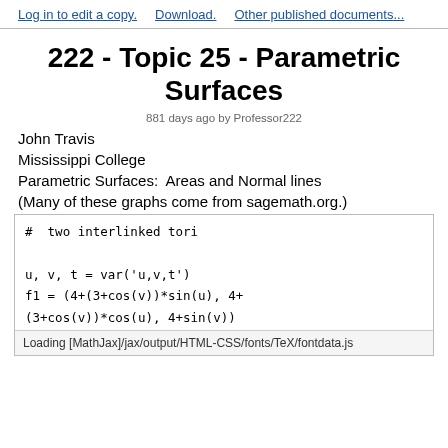Log in to edit a copy.   Download.   Other published documents...
222 - Topic 25 - Parametric Surfaces
881 days ago by Professor222
John Travis
Mississippi College
Parametric Surfaces:  Areas and Normal lines
(Many of these graphs come from sagemath.org.)
#  two interlinked tori

u, v, t = var('u,v,t')
f1 = (4+(3+cos(v))*sin(u), 4+
(3+cos(v))*cos(u), 4+sin(v))
f2 = (8+(3+cos(v))*cos(u), 3+sin(v), 4+
Loading [MathJax]/jax/output/HTML-CSS/fonts/TeX/fontdata.js